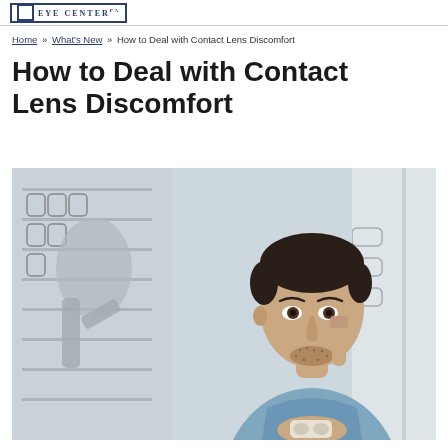EYE CENTER PA
Home » What's New » How to Deal with Contact Lens Discomfort
How to Deal with Contact Lens Discomfort
[Figure (photo): A man in a blue shirt looking in a mirror holding a contact lens case, touching the area near his eye, set in an optometry office with glasses frames visible in the background.]